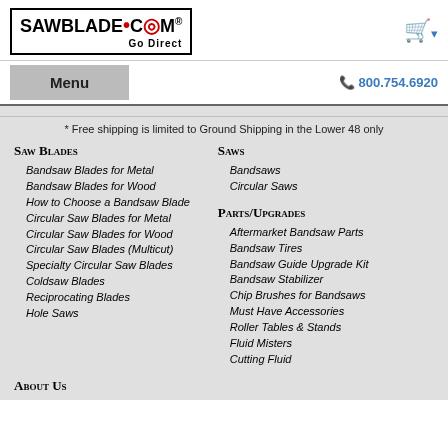SAWBLADE.COM Go Direct
Menu  800.754.6920
* Free shipping is limited to Ground Shipping in the Lower 48 only
Saw Blades
Bandsaw Blades for Metal
Bandsaw Blades for Wood
How to Choose a Bandsaw Blade
Circular Saw Blades for Metal
Circular Saw Blades for Wood
Circular Saw Blades (Multicut)
Specialty Circular Saw Blades
Coldsaw Blades
Reciprocating Blades
Hole Saws
Saws
Bandsaws
Circular Saws
Parts/Upgrades
Aftermarket Bandsaw Parts
Bandsaw Tires
Bandsaw Guide Upgrade Kit
Bandsaw Stabilizer
Chip Brushes for Bandsaws
Must Have Accessories
Roller Tables & Stands
Fluid Misters
Cutting Fluid
About Us